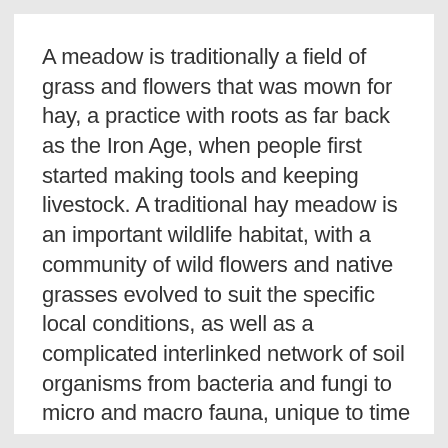A meadow is traditionally a field of grass and flowers that was mown for hay, a practice with roots as far back as the Iron Age, when people first started making tools and keeping livestock. A traditional hay meadow is an important wildlife habitat, with a community of wild flowers and native grasses evolved to suit the specific local conditions, as well as a complicated interlinked network of soil organisms from bacteria and fungi to micro and macro fauna, unique to time and place. Traditional meadows can range from unimproved fields in the upland fringes, to damp floodplain meadows that are regularly inundated by rivers. Each meadow type hosts